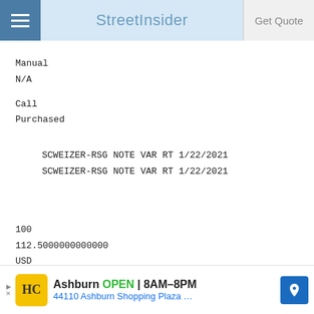StreetInsider
Manual
N/A
Call
Purchased
SCWEIZER-RSG NOTE VAR RT 1/22/2021
SCWEIZER-RSG NOTE VAR RT 1/22/2021
100
112.5000000000000
USD
2028-01-21
XXXX
1845.76